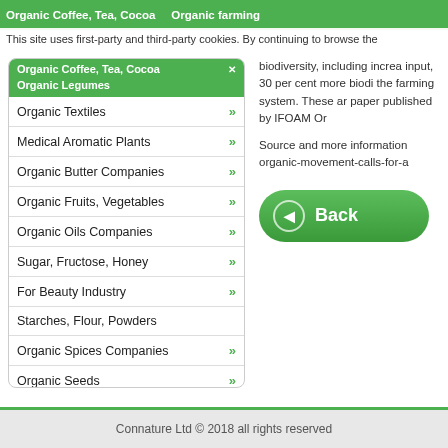Organic Coffee, Tea, Cocoa  Organic Legumes
This site uses first-party and third-party cookies. By continuing to browse the
Organic Textiles
Medical Aromatic Plants
Organic Butter Companies
Organic Fruits, Vegetables
Organic Oils Companies
Sugar, Fructose, Honey
For Beauty Industry
Starches, Flour, Powders
Organic Spices Companies
Organic Seeds
Organic Oil Seeds
Organic Nut Products
biodiversity, including increa input, 30 per cent more biodi the farming system. These ar paper published by IFOAM Or
Source and more information organic-movement-calls-for-a
[Figure (other): Green Back button with left arrow icon]
Connature Ltd © 2018 all rights reserved